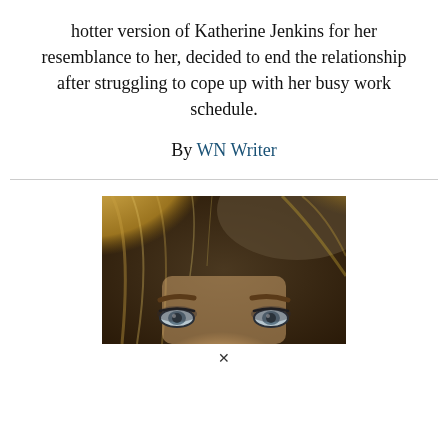hotter version of Katherine Jenkins for her resemblance to her, decided to end the relationship after struggling to cope up with her busy work schedule.
By WN Writer
[Figure (photo): Close-up photo of a young blonde woman with blue-grey eyes, thick dark eyebrows and smoky eye makeup, hair pulled back, photographed from forehead to just below the eyes.]